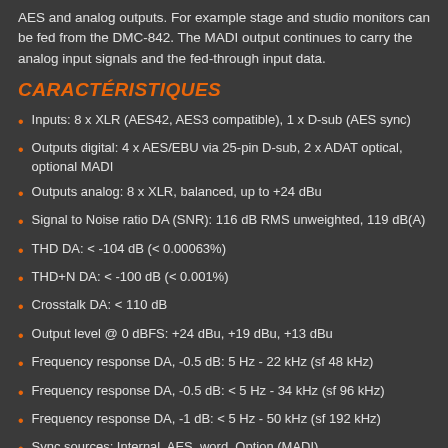AES and analog outputs. For example stage and studio monitors can be fed from the DMC-842. The MADI output continues to carry the analog input signals and the fed-through input data.
CARACTÉRISTIQUES
Inputs: 8 x XLR (AES42, AES3 compatible), 1 x D-sub (AES sync)
Outputs digital: 4 x AES/EBU via 25-pin D-sub, 2 x ADAT optical, optional MADI
Outputs analog: 8 x XLR, balanced, up to +24 dBu
Signal to Noise ratio DA (SNR): 116 dB RMS unweighted, 119 dB(A)
THD DA: < -104 dB (< 0.00063%)
THD+N DA: < -100 dB (< 0.001%)
Crosstalk DA: < 110 dB
Output level @ 0 dBFS: +24 dBu, +19 dBu, +13 dBu
Frequency response DA, -0.5 dB: 5 Hz - 22 kHz (sf 48 kHz)
Frequency response DA, -0.5 dB: < 5 Hz - 34 kHz (sf 96 kHz)
Frequency response DA, -1 dB: < 5 Hz - 50 kHz (sf 192 kHz)
Sync sources: Internal, AES, word, Option (MADI)
Sample frequencies: 44.1 kHz, 48 kHz, 88.2 kHz, 96 kHz, 176.4 kHz, 192 kHz, variable (external clocks)